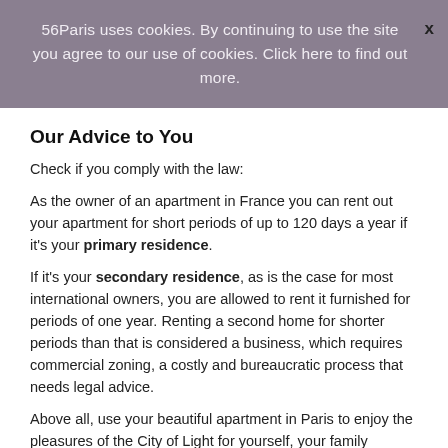56Paris uses cookies. By continuing to use the site you agree to our use of cookies. Click here to find out more.
Our Advice to You
Check if you comply with the law:
As the owner of an apartment in France you can rent out your apartment for short periods of up to 120 days a year if it's your primary residence.
If it's your secondary residence, as is the case for most international owners, you are allowed to rent it furnished for periods of one year. Renting a second home for shorter periods than that is considered a business, which requires commercial zoning, a costly and bureaucratic process that needs legal advice.
Above all, use your beautiful apartment in Paris to enjoy the pleasures of the City of Light for yourself, your family